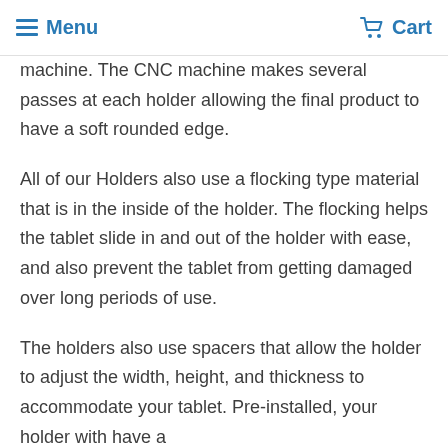Menu  Cart
machine. The CNC machine makes several passes at each holder allowing the final product to have a soft rounded edge.
All of our Holders also use a flocking type material that is in the inside of the holder. The flocking helps the tablet slide in and out of the holder with ease, and also prevent the tablet from getting damaged over long periods of use.
The holders also use spacers that allow the holder to adjust the width, height, and thickness to accommodate your tablet. Pre-installed, your holder with have a neutral-sized spacer that accommodates...